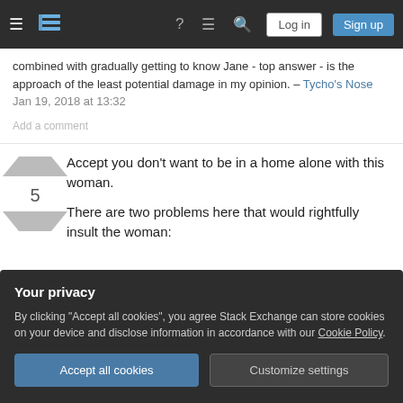Stack Exchange navigation bar with Log in and Sign up buttons
combined with gradually getting to know Jane - top answer - is the approach of the least potential damage in my opinion. – Tycho's Nose Jan 19, 2018 at 13:32
Add a comment
Accept you don't want to be in a home alone with this woman.

There are two problems here that would rightfully insult the woman:
Your privacy

By clicking "Accept all cookies", you agree Stack Exchange can store cookies on your device and disclose information in accordance with our Cookie Policy.

Accept all cookies   Customize settings